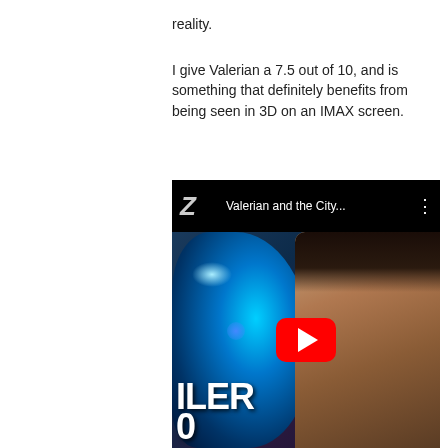reality.
I give Valerian a 7.5 out of 10, and is something that definitely benefits from being seen in 3D on an IMAX screen.
[Figure (screenshot): YouTube video thumbnail for 'Valerian and the City...' showing a blue alien creature on the left and a young male actor on the right, with a red YouTube play button in the center and partial text 'ILER' and '0' visible at the bottom left.]